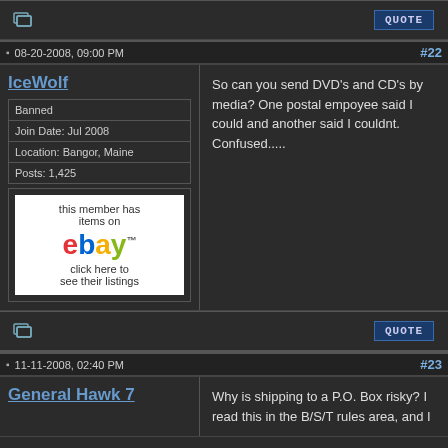08-20-2008, 09:00 PM  #22
IceWolf
Banned
Join Date: Jul 2008
Location: Bangor, Maine
Posts: 1,425
[Figure (other): eBay advertisement banner: 'this member has items on ebay click here to see their listings']
So can you send DVD's and CD's by media? One postal empoyee said I could and another said I couldnt. Confused.....
11-11-2008, 02:40 PM  #23
General Hawk 7
Why is shipping to a P.O. Box risky? I read this in the B/S/T rules area, and I